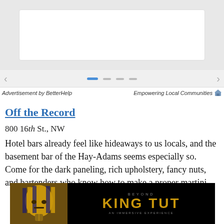[Figure (screenshot): Advertisement carousel banner with left/right arrows and navigation dots on gray background]
Advertisement by BetterHelp    Empowering Local Communities
Off the Record
800 16th St., NW
Hotel bars already feel like hideaways to us locals, and the basement bar of the Hay-Adams seems especially so. Come for the dark paneling, rich upholstery, fancy nuts, and bartenders who know how to make a proper martini.
[Figure (photo): Beyond King Tut advertisement banner with golden pharaoh mask on black background]